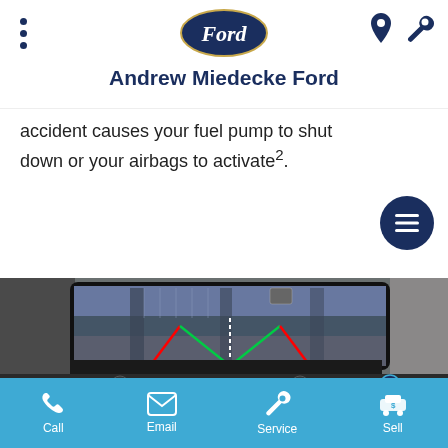Andrew Miedecke Ford
accident causes your fuel pump to shut down or your airbags to activate².
[Figure (photo): Ford car dashboard infotainment screen showing a rear-view camera display in a parking garage, with colored guide lines overlaid. Engine start/stop button visible to the right. Volume and tune knobs visible below the screen.]
Call  Email  Service  Sell